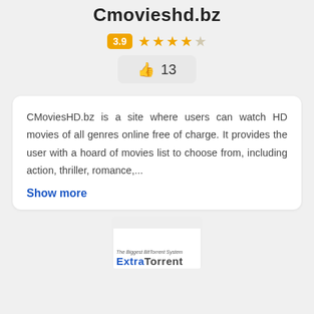Cmovieshd.bz
3.9 ★★★★☆ 13 likes
CMoviesHD.bz is a site where users can watch HD movies of all genres online free of charge. It provides the user with a hoard of movies list to choose from, including action, thriller, romance,...
Show more
[Figure (screenshot): ExtraTorrent website logo screenshot showing 'The Biggest BitTorrent System' tagline with 'ExtraTorrent' in blue and dark text on white background]